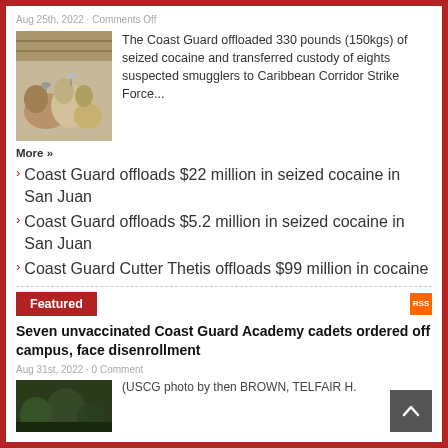Aug 25th, 2022 · Comments Off
[Figure (photo): Bags of seized cocaine packages on a surface]
The Coast Guard offloaded 330 pounds (150kgs) of seized cocaine and transferred custody of eights suspected smugglers to Caribbean Corridor Strike Force...
More »
Coast Guard offloads $22 million in seized cocaine in San Juan
Coast Guard offloads $5.2 million in seized cocaine in San Juan
Coast Guard Cutter Thetis offloads $99 million in cocaine
Featured
Seven unvaccinated Coast Guard Academy cadets ordered off campus, face disenrollment
Aug 31st, 2022 · 0 Comment
[Figure (photo): Dark outdoor nighttime photo]
(USCG photo by then BROWN, TELFAIR H.